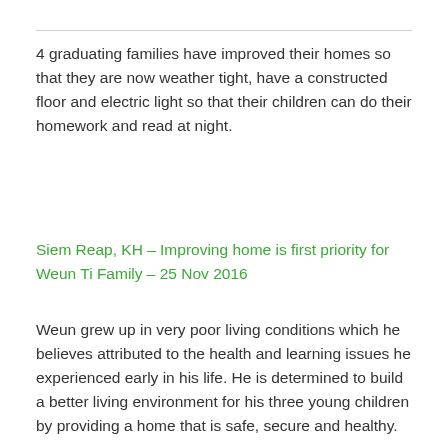4 graduating families have improved their homes so that they are now weather tight, have a constructed floor and electric light so that their children can do their homework and read at night.
Siem Reap, KH – Improving home is first priority for Weun Ti Family – 25 Nov 2016
Weun grew up in very poor living conditions which he believes attributed to the health and learning issues he experienced early in his life. He is determined to build a better living environment for his three young children by providing a home that is safe, secure and healthy.